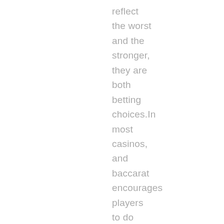reflect the worst and the stronger, they are both betting choices.In most casinos, and baccarat encourages players to do something other